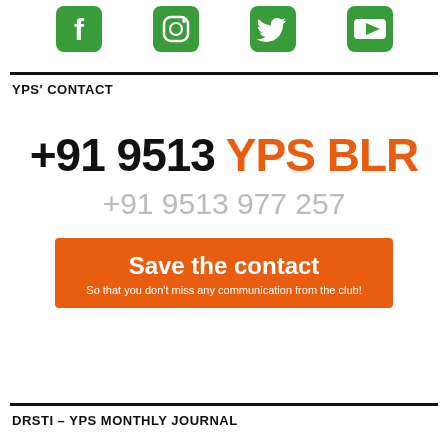[Figure (illustration): Four social media icons in green: Facebook, Instagram, Twitter, YouTube]
YPS' CONTACT
+91 9513 YPS BLR
+91 9513 977 257
Save the contact
So that you don't miss any communication from the club!
DRSTI – YPS MONTHLY JOURNAL